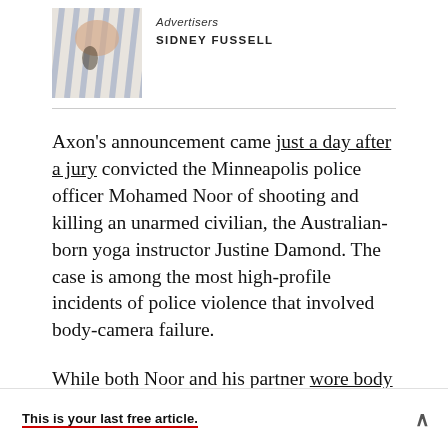[Figure (photo): Thumbnail photo of a person wearing a striped shirt, partially visible]
Advertisers
SIDNEY FUSSELL
Axon's announcement came just a day after a jury convicted the Minneapolis police officer Mohamed Noor of shooting and killing an unarmed civilian, the Australian-born yoga instructor Justine Damond. The case is among the most high-profile incidents of police violence that involved body-camera failure.
While both Noor and his partner wore body
This is your last free article.